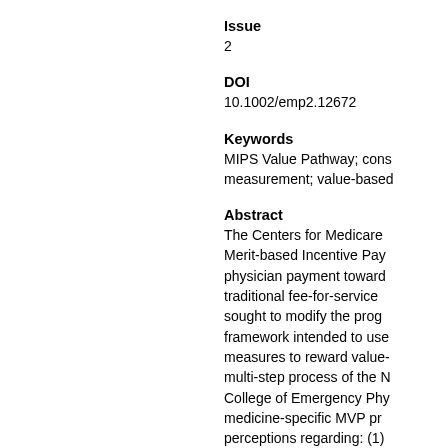Issue
2
DOI
10.1002/emp2.12672
Keywords
MIPS Value Pathway; cons measurement; value-based
Abstract
The Centers for Medicare Merit-based Incentive Pay physician payment toward traditional fee-for-service sought to modify the prog framework intended to use measures to reward value- multi-step process of the N College of Emergency Phy medicine-specific MVP pr perceptions regarding: (1) quality emergency care, ar can impact clinical outcom